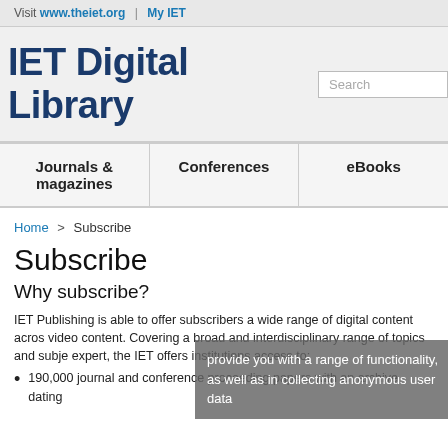Visit www.theiet.org | My IET
IET Digital Library
Journals & magazines   Conferences   eBooks
Home > Subscribe
Subscribe
Why subscribe?
IET Publishing is able to offer subscribers a wide range of digital content across video content. Covering a broad and interdisciplinary range of topics and subjects, expert, the IET offers institutions access to:
190,000 journal and conference proceeding papers with an archive dating